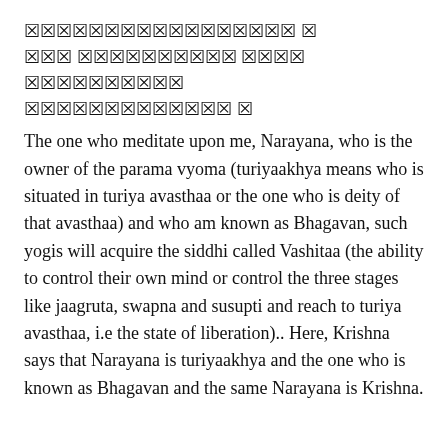🔲🔲🔲🔲🔲🔲🔲🔲🔲🔲🔲🔲🔲🔲🔲🔲🔲 🔲 🔲🔲🔲 🔲🔲🔲🔲🔲🔲🔲🔲🔲🔲 🔲🔲🔲🔲 🔲🔲🔲🔲🔲🔲🔲🔲🔲🔲 🔲🔲🔲🔲🔲🔲🔲🔲🔲🔲🔲🔲🔲 🔲
The one who meditate upon me, Narayana, who is the owner of the parama vyoma (turiyaakhya means who is situated in turiya avasthaa or the one who is deity of that avasthaa) and who am known as Bhagavan, such yogis will acquire the siddhi called Vashitaa (the ability to control their own mind or control the three stages like jaagruta, swapna and susupti and reach to turiya avasthaa, i.e the state of liberation).. Here, Krishna says that Narayana is turiyaakhya and the one who is known as Bhagavan and the same Narayana is Krishna.